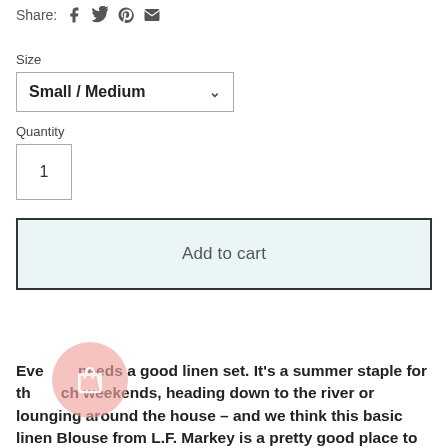Share:
Size
Small / Medium
Quantity
1
Add to cart
Everyone needs a good linen set. It's a summer staple for the beach weekends, heading down to the river or lounging around the house – and we think this basic linen Blouse from L.F. Markey is a pretty good place to start.